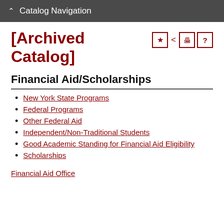Catalog Navigation
[Archived Catalog]
Financial Aid/Scholarships
New York State Programs
Federal Programs
Other Federal Aid
Independent/Non-Traditional Students
Good Academic Standing for Financial Aid Eligibility
Scholarships
Financial Aid Office